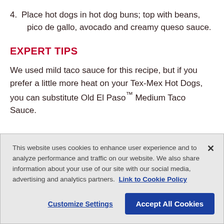4. Place hot dogs in hot dog buns; top with beans, pico de gallo, avocado and creamy queso sauce.
EXPERT TIPS
We used mild taco sauce for this recipe, but if you prefer a little more heat on your Tex-Mex Hot Dogs, you can substitute Old El Paso™ Medium Taco Sauce.
This website uses cookies to enhance user experience and to analyze performance and traffic on our website. We also share information about your use of our site with our social media, advertising and analytics partners. Link to Cookie Policy